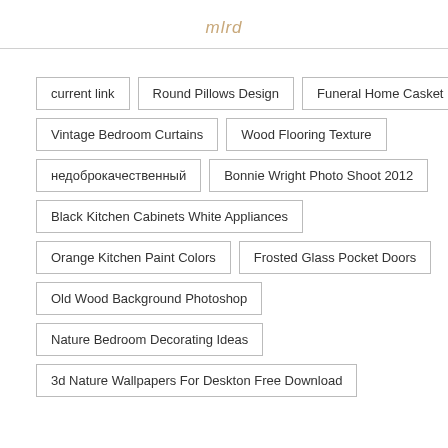mlrd
current link
Round Pillows Design
Funeral Home Casket
Vintage Bedroom Curtains
Wood Flooring Texture
недоброкачественный
Bonnie Wright Photo Shoot 2012
Black Kitchen Cabinets White Appliances
Orange Kitchen Paint Colors
Frosted Glass Pocket Doors
Old Wood Background Photoshop
Nature Bedroom Decorating Ideas
3d Nature Wallpapers For Deskton Free Download